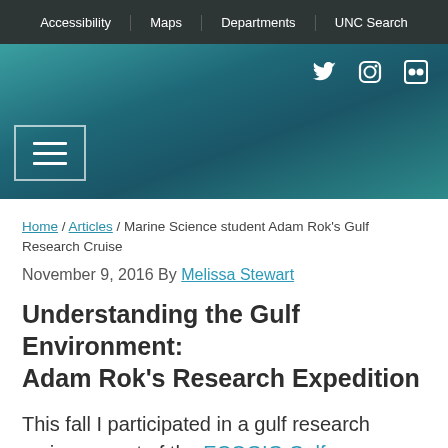Accessibility | Maps | Departments | UNC Search
[Figure (screenshot): University website hero header with teal/dark teal gradient background, social media icons (Twitter, Instagram, Flickr) in top right, and hamburger menu button in bottom left]
Home / Articles / Marine Science student Adam Rok's Gulf Research Cruise
November 9, 2016 By Melissa Stewart
Understanding the Gulf Environment: Adam Rok's Research Expedition
This fall I participated in a gulf research cruise as part of the ECOGIG Gulf